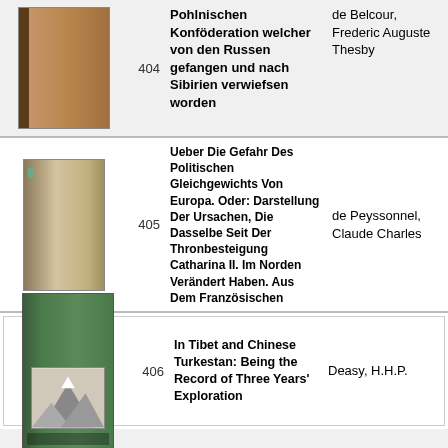| Image | No. | Title | Author |
| --- | --- | --- | --- |
| [book image] | 404 | Bericht der Pohlnischen Konföderation welcher von den Russen gefangen und nach Sibirien verwiefsen worden | de Belcour, Frederic Auguste Thesby |
| [book image] | 405 | Ueber Die Gefahr Des Politischen Gleichgewichts Von Europa. Oder: Darstellung Der Ursachen, Die Dasselbe Seit Der Thronbesteigung Catharina II. Im Norden Verändert Haben. Aus Dem Französischen | de Peyssonnel, Claude Charles |
| [book image] | 406 | In Tibet and Chinese Turkestan: Being the Record of Three Years' Exploration | Deasy, H.H.P. |
| [book image] | 407 |  |  |